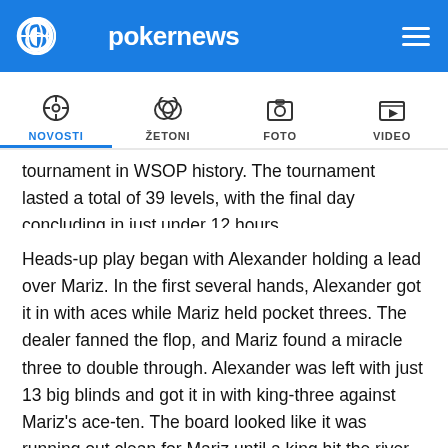pokernews (logo)
NOVOSTI | ŽETONI | FOTO | VIDEO
tournament in WSOP history. The tournament lasted a total of 39 levels, with the final day concluding in just under 12 hours.
Heads-up play began with Alexander holding a lead over Mariz. In the first several hands, Alexander got it in with aces while Mariz held pocket threes. The dealer fanned the flop, and Mariz found a miracle three to double through. Alexander was left with just 13 big blinds and got it in with king-three against Mariz's ace-ten. The board looked like it was running out clean for Mariz until a king hit the river and Alexander found new life. He eventually took the lead, but Mariz climbed back.
In the final hand, Alexander shoved with ace-three off suit and was called by Mariz holding queen-jack off suit. The flop and turn were clean for Alexander, but the queen of spades hit the